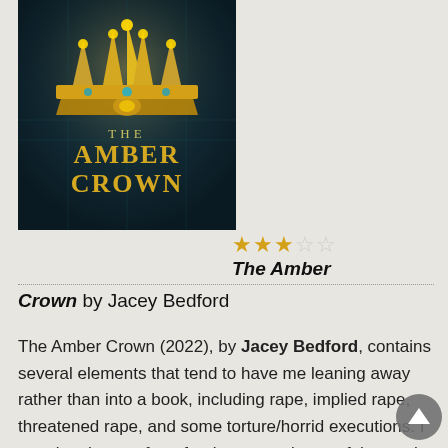[Figure (photo): Book cover of 'The Amber Crown' by Jacey Bedford — dark teal/green background with a golden ornate crown at the top, text reads THE AMBER CROWN in large gold letters]
★★★☆☆ The Amber Crown by Jacey Bedford
The Amber Crown (2022), by Jacey Bedford, contains several elements that tend to have me leaning away rather than into a book, including rape, implied rape, threatened rape, and some torture/horrid executions. I mention them upfront for the convenience of those who can tell already the book isn't for them and so will stop reading the review now (I should note they aren't